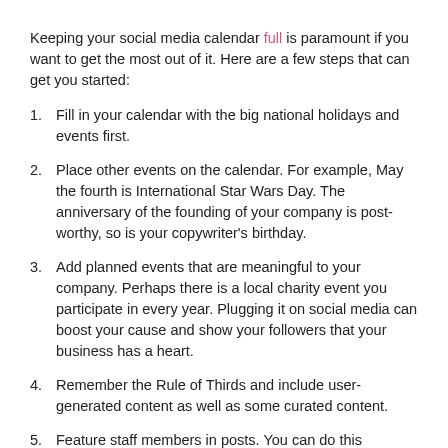Keeping your social media calendar full is paramount if you want to get the most out of it. Here are a few steps that can get you started:
Fill in your calendar with the big national holidays and events first.
Place other events on the calendar. For example, May the fourth is International Star Wars Day. The anniversary of the founding of your company is post-worthy, so is your copywriter's birthday.
Add planned events that are meaningful to your company. Perhaps there is a local charity event you participate in every year. Plugging it on social media can boost your cause and show your followers that your business has a heart.
Remember the Rule of Thirds and include user-generated content as well as some curated content.
Feature staff members in posts. You can do this regularly, perhaps once a month. It is fine to share happy events in their lives as well. Is your top designer getting married, or maybe your editor just became a grandpa, add these to the calendar (with permission) to enhance the sense of family and familiarity.